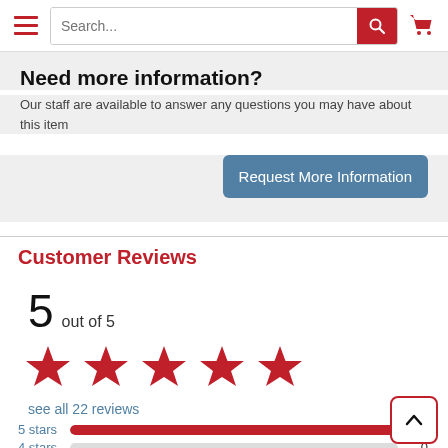Search...
Need more information?
Our staff are available to answer any questions you may have about this item
Request More Information
Customer Reviews
5 out of 5
[Figure (other): Five red star rating icons]
see all 22 reviews
| Stars | Bar | Count |
| --- | --- | --- |
| 5 stars |  | 22 |
| 4 stars |  | 0 |